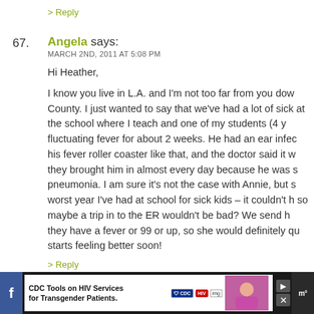> Reply
67.  Angela says:
MARCH 2ND, 2011 AT 5:08 PM

Hi Heather,

I know you live in L.A. and I'm not too far from you down County. I just wanted to say that we've had a lot of sick at the school where I teach and one of my students (4 y fluctuating fever for about 2 weeks. He had an ear infec his fever roller coaster like that, and the doctor said it w they brought him in almost every day because he was s pneumonia. I am sure it's not the case with Annie, but s worst year I've had at school for sick kids – it couldn't h so maybe a trip in to the ER wouldn't be bad? We send h they have a fever or 99 or up, so she would definitely qu starts feeling better soon!
> Reply
[Figure (screenshot): Advertisement banner: CDC Tools on HIV Services for Transgender Patients, with CDC and HIV logos and a photo of people]